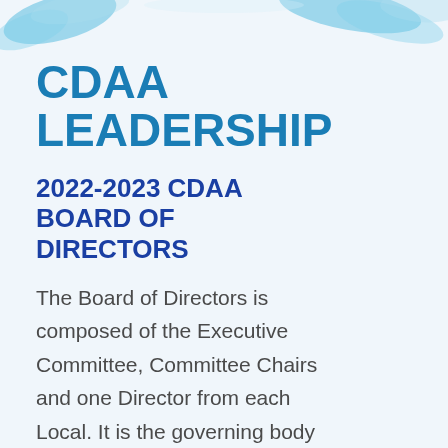[Figure (illustration): Decorative water/wave swirl shapes in light blue at the top of the page]
CDAA LEADERSHIP
2022-2023 CDAA BOARD OF DIRECTORS
The Board of Directors is composed of the Executive Committee, Committee Chairs and one Director from each Local. It is the governing body